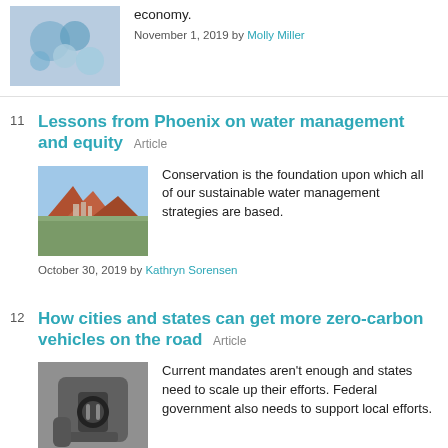[Figure (photo): Abstract blue and white image, possibly microscopic or water-related]
economy.
November 1, 2019 by Molly Miller
11 Lessons from Phoenix on water management and equity Article
[Figure (photo): Aerial view of Phoenix desert landscape with red rocks and city skyline]
Conservation is the foundation upon which all of our sustainable water management strategies are based.
October 30, 2019 by Kathryn Sorensen
12 How cities and states can get more zero-carbon vehicles on the road Article
[Figure (photo): Person holding an electric vehicle charging plug]
Current mandates aren't enough and states need to scale up their efforts. Federal government also needs to support local efforts.
October 29, 2019 by Robert Klee